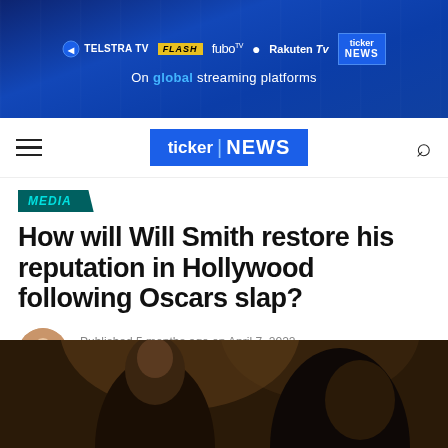[Figure (screenshot): Ticker News website banner showing streaming platform logos (Telstra TV, FLASH, fuboTV, Rakuten TV) with text 'On global streaming platforms' on a dark blue background]
ticker NEWS
MEDIA
How will Will Smith restore his reputation in Hollywood following Oscars slap?
Published 5 months ago on April 7, 2022
By Brittany Coles
[Figure (photo): Photo of Chris Rock and Will Smith at the Oscars ceremony]